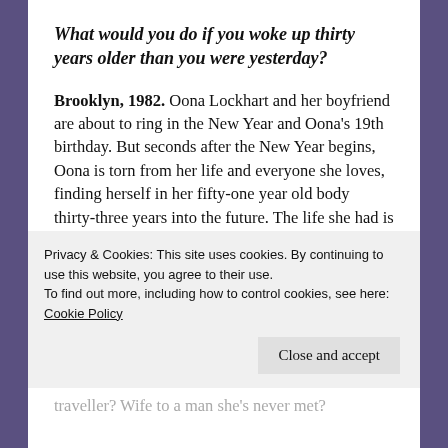What would you do if you woke up thirty years older than you were yesterday?
Brooklyn, 1982. Oona Lockhart and her boyfriend are about to ring in the New Year and Oona's 19th birthday. But seconds after the New Year begins, Oona is torn from her life and everyone she loves, finding herself in her fifty-one year old body thirty-three years into the future. The life she had is gone, and all she is a letter from herself from the previous year to guide her.
Each year on the stroke of midnight she finds
Privacy & Cookies: This site uses cookies. By continuing to use this website, you agree to their use.
To find out more, including how to control cookies, see here: Cookie Policy
traveller? Wife to a man she's never met?